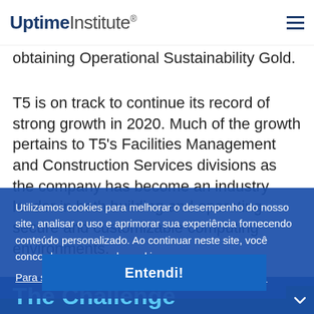Uptime Institute®
relationship with Uptime Institute with our existing Tier III design / be... Uptime Institute Certified data center and obtaining Operational Sustainability Gold.
T5 is on track to continue its record of strong growth in 2020. Much of the growth pertains to T5's Facilities Management and Construction Services divisions as the company has become an industry leader in both building and operating secure and customizable computing environments.
Utilizamos cookies para melhorar o desempenho do nosso site, analisar o uso e aprimorar sua experiência fornecendo conteúdo personalizado. Ao continuar neste site, você concorda com o uso de cookies.

Para saber mais, revise nossa política de privacidade.
The Challenge
Entendi!
T5...